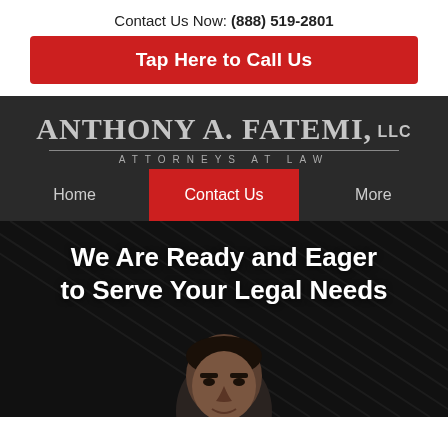Contact Us Now: (888) 519-2801
Tap Here to Call Us
[Figure (logo): Anthony A. Fatemi, LLC - Attorneys at Law logo in silver/grey text on dark background]
Home
Contact Us
More
We Are Ready and Eager to Serve Your Legal Needs
[Figure (photo): Photo of a man, partially visible from the chest up, dark background with diagonal stripe pattern]